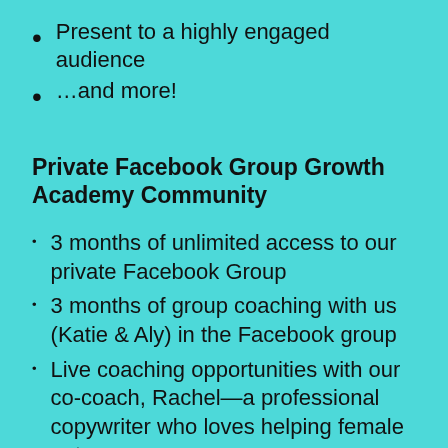Present to a highly engaged audience
…and more!
Private Facebook Group Growth Academy Community
3 months of unlimited access to our private Facebook Group
3 months of group coaching with us (Katie & Aly) in the Facebook group
Live coaching opportunities with our co-coach, Rachel—a professional copywriter who loves helping female entrepreneurs grow